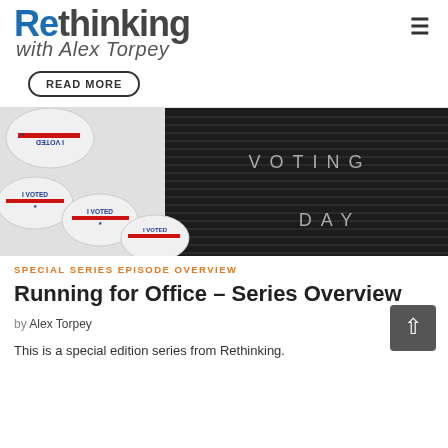Rethinking with Alex Torpey
READ MORE
[Figure (photo): Photo of 'I VOTED' stickers and a black letter board displaying 'VOTING DAY']
SPECIAL SERIES EPISODE OVERVIEW
Running for Office – Series Overview
by Alex Torpey
This is a special edition series from Rethinking.